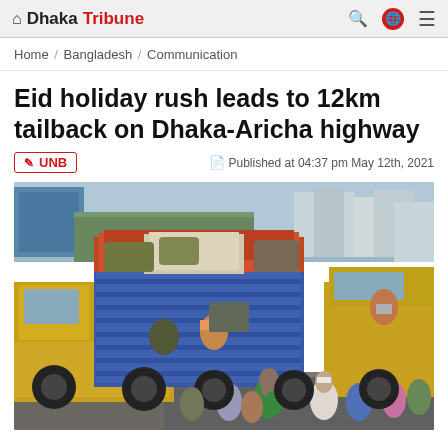Dhaka Tribune
Home / Bangladesh / Communication
Eid holiday rush leads to 12km tailback on Dhaka-Aricha highway
UNB  Published at 04:37 pm May 12th, 2021
[Figure (photo): People crowding around and boarding trucks on a busy road, likely during Eid holiday exodus on Dhaka-Aricha highway. Yellow and blue trucks visible, with people in colorful clothing loading luggage.]